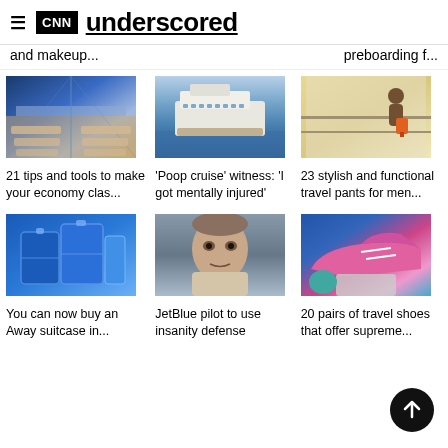CNN underscored
and makeup...
preboarding f...
[Figure (photo): Airplane interior with rows of seats lit in blue]
[Figure (photo): Large cruise ship on water]
[Figure (photo): Person with luggage at airport window]
21 tips and tools to make your economy clas...
'Poop cruise' witness: 'I got mentally injured'
23 stylish and functional travel pants for men...
[Figure (photo): Blue Away suitcases stacked]
[Figure (photo): Mugshot of JetBlue pilot]
[Figure (photo): Pink travel shoes on luggage]
You can now buy an Away suitcase in...
JetBlue pilot to use insanity defense
20 pairs of travel shoes that offer supreme...